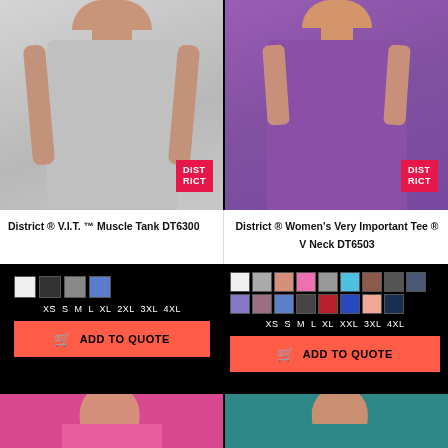[Figure (photo): Man wearing grey sleeveless muscle tank top with District brand logo badge]
[Figure (photo): Woman wearing purple V-neck t-shirt with District brand logo badge]
District ® V.I.T. ™ Muscle Tank DT6300
District ® Women's Very Important Tee ® V Neck DT6503
[Figure (other): Color swatches: white, dark gray, gray, blue. Sizes: XS S M L XL 2XL 3XL 4XL. Add to Quote button.]
[Figure (other): Color swatches row 1: white, gray, peach, pink, gray, cyan, brown, dark gray, dark blue. Row 2: purple, mauve, blue, charcoal, red, royal blue, peach, navy. Sizes: XS S M L XL XXL 3XL 4XL. Add to Quote button.]
[Figure (photo): Woman wearing pink t-shirt, partial view]
[Figure (photo): Man wearing teal t-shirt, partial view]